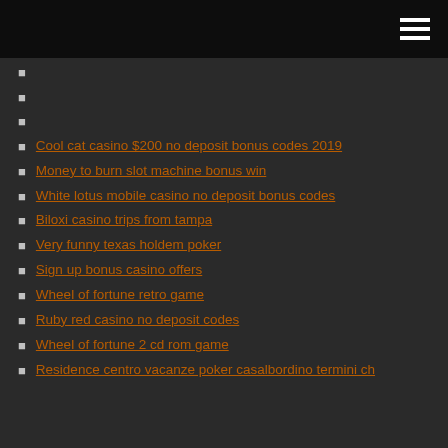Cool cat casino $200 no deposit bonus codes 2019
Money to burn slot machine bonus win
White lotus mobile casino no deposit bonus codes
Biloxi casino trips from tampa
Very funny texas holdem poker
Sign up bonus casino offers
Wheel of fortune retro game
Ruby red casino no deposit codes
Wheel of fortune 2 cd rom game
Residence centro vacanze poker casalbordino termini ch